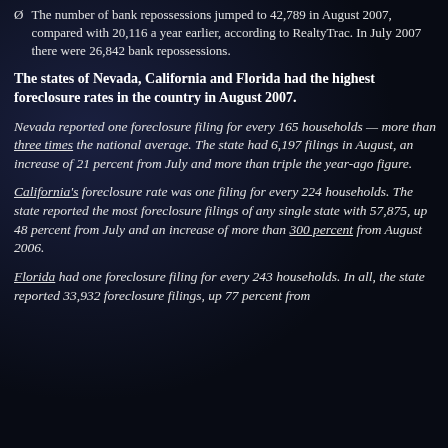The number of bank repossessions jumped to 42,789 in August 2007, compared with 20,116 a year earlier, according to RealtyTrac. In July 2007 there were 26,842 bank repossessions.
The states of Nevada, California and Florida had the highest foreclosure rates in the country in August 2007.
Nevada reported one foreclosure filing for every 165 households — more than three times the national average. The state had 6,197 filings in August, an increase of 21 percent from July and more than triple the year-ago figure.
California's foreclosure rate was one filing for every 224 households. The state reported the most foreclosure filings of any single state with 57,875, up 48 percent from July and an increase of more than 300 percent from August 2006.
Florida had one foreclosure filing for every 243 households. In all, the state reported 33,932 foreclosure filings, up 77 percent from